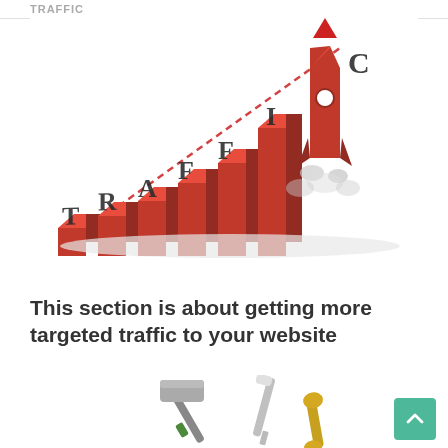[Figure (illustration): 3D bar chart illustration with the word TRAFFIC spelled out in distressed block letters across the bars, with a red rocket launching upward and a red dashed trend line going up to the right]
This section is about getting more targeted traffic to your website
[Figure (illustration): Tools illustration showing a hammer, screwdriver, and wrench at the bottom of the page]